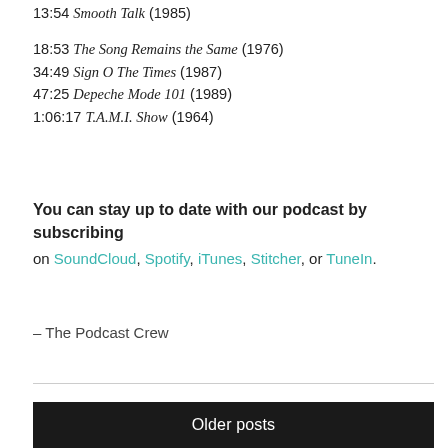13:54 Smooth Talk (1985)
18:53 The Song Remains the Same (1976)
34:49 Sign O The Times (1987)
47:25 Depeche Mode 101 (1989)
1:06:17 T.A.M.I. Show (1964)
You can stay up to date with our podcast by subscribing on SoundCloud, Spotify, iTunes, Stitcher, or TuneIn.
– The Podcast Crew
Older posts